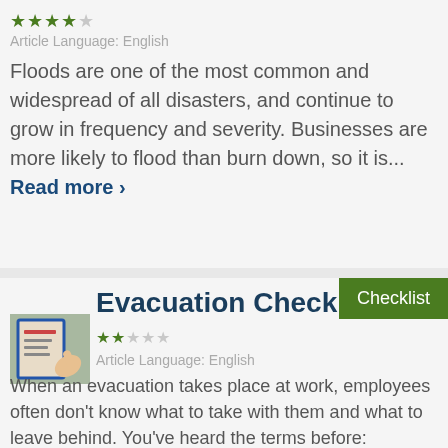[Figure (other): 4 out of 5 star rating for flood article]
Article Language: English
Floods are one of the most common and widespread of all disasters, and continue to grow in frequency and severity. Businesses are more likely to flood than burn down, so it is... Read more >
[Figure (other): Green Checklist badge label]
[Figure (photo): Thumbnail image of a clipboard with a checklist and a hand pointing]
Evacuation Checklist
[Figure (other): 2 out of 5 star rating for Evacuation Checklist]
Article Language: English
When an evacuation takes place at work, employees often don't know what to take with them and what to leave behind. You've heard the terms before: